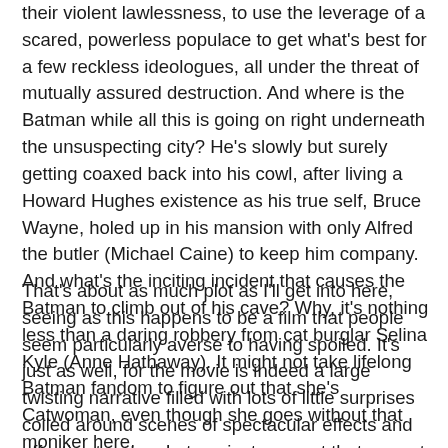their violent lawlessness, to use the leverage of a scared, powerless populace to get what's best for a few reckless ideologues, all under the threat of mutually assured destruction. And where is the Batman while all this is going on right underneath the unsuspecting city? He's slowly but surely getting coaxed back into his cowl, after living a Howard Hughes existence as his true self, Bruce Wayne, holed up in his mansion with only Alfred the butler (Michael Caine) to keep him company. And what's the inciting incident that causes the Batman to climb out of his cave? Why, it's nothing less than a daring robbery from cat burglar Selina Kyle (Anne Hathaway). It might not take lifelong Batman fandom to figure out that she's Catwoman, even though she goes without that moniker here.
That's about as much plot as I'll get into here, seeing as this happens to be a film that people seem particularly averse to having spoiled. It's just as well, for the movie is indeed a large twisting narrative filled with lots of little surprises coiled around scenes of spectacular effects and effective tension. Let me just suggest that a great deal of the film's pleasure comes from the new members of the cast. Of course Bale and Caine are solid as always, as are Morgan Freeman as